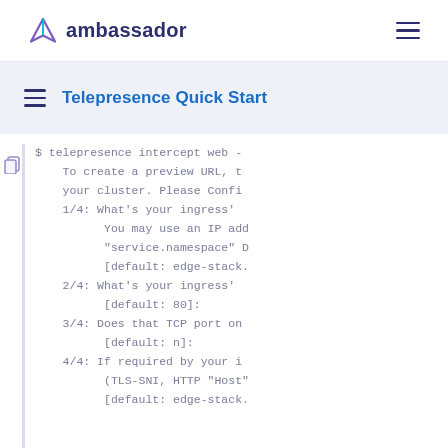ambassador
Telepresence Quick Start
$ telepresence intercept web -
    To create a preview URL, t
    your cluster. Please Confi
    1/4: What's your ingress'
          You may use an IP add
          "service.namespace" D
          [default: edge-stack.
    2/4: What's your ingress'
          [default: 80]:
    3/4: Does that TCP port on
          [default: n]:
    4/4: If required by your i
          (TLS-SNI, HTTP "Host"
          [default: edge-stack.